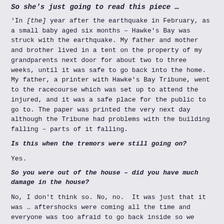So she's just going to read this piece …
'In [the] year after the earthquake in February, as a small baby aged six months – Hawke's Bay was struck with the earthquake. My father and mother and brother lived in a tent on the property of my grandparents next door for about two to three weeks, until it was safe to go back into the home. My father, a printer with Hawke's Bay Tribune, went to the racecourse which was set up to attend the injured, and it was a safe place for the public to go to. The paper was printed the very next day although the Tribune had problems with the building falling – parts of it falling.
Is this when the tremors were still going on?
Yes.
So you were out of the house – did you have much damage in the house?
No, I don't think so. No, no. It was just that it was ... aftershocks were coming all the time and everyone was too afraid to go back inside so we lived in this tent on my